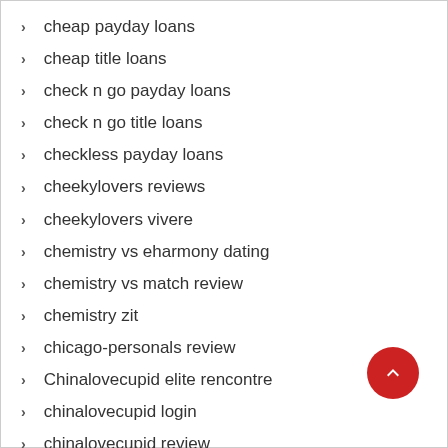cheap payday loans
cheap title loans
check n go payday loans
check n go title loans
checkless payday loans
cheekylovers reviews
cheekylovers vivere
chemistry vs eharmony dating
chemistry vs match review
chemistry zit
chicago-personals review
Chinalovecupid elite rencontre
chinalovecupid login
chinalovecupid review
chinalovecupid reviews